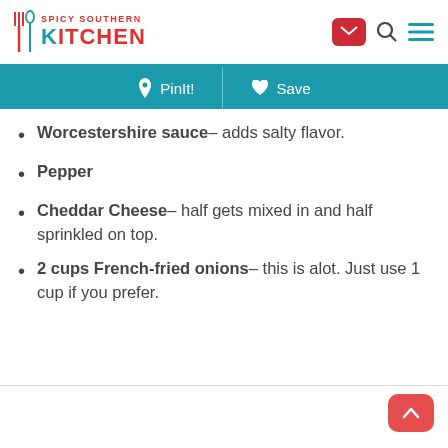Spicy Southern Kitchen
Worcestershire sauce– adds salty flavor.
Pepper
Cheddar Cheese– half gets mixed in and half sprinkled on top.
2 cups French-fried onions– this is alot. Just use 1 cup if you prefer.